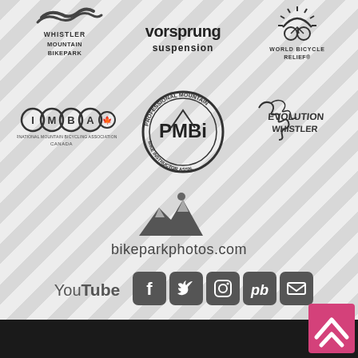[Figure (logo): Whistler Mountain Bike Park logo - dark grey stylized wave/mountain with text WHISTLER MOUNTAIN BIKEPARK]
[Figure (logo): Vorsprung Suspension logo - bold black text 'vorsprung suspension']
[Figure (logo): World Bicycle Relief logo - circular sun rays icon above text WORLD BICYCLE RELIEF]
[Figure (logo): IMBA Canada logo - chain link circles spelling IMBA with maple leaf, text INTERNATIONAL MOUNTAIN BICYCLING ASSOCIATION CANADA]
[Figure (logo): PMBI Professional Mountain Bike Instructor Association logo - circular badge]
[Figure (logo): Evolution Whistler logo - dragon illustration with stylized text]
[Figure (logo): bikeparkphotos.com logo - mountain silhouette with sun dot and text bikeparkphotos.com]
[Figure (logo): Social media icons row: YouTube, Facebook, Twitter, Instagram, PinkBike (pb), Email/envelope]
[Figure (logo): Pink scroll-to-top button with upward chevron arrow]